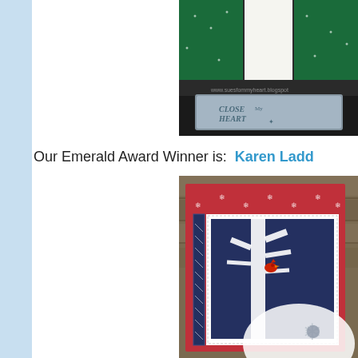[Figure (photo): Close-up photo of a Close To My Heart acrylic stamp block with green and white patterned card stock visible behind it, on a dark background. Text watermark: www.suesfommyheart.blogspot]
Our Emerald Award Winner is:  Karen Ladd
[Figure (photo): Handmade Christmas card by Karen Ladd featuring red and white snowflake patterned paper, navy blue background with a white birch tree silhouette, a red cardinal bird, and silver snowflake embellishments, on a stone/brick background.]